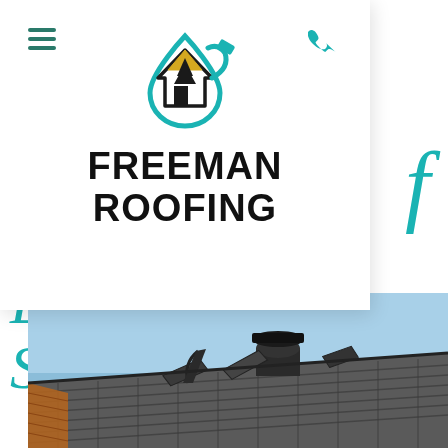[Figure (logo): Freeman Roofing logo with teal drop/house icon and bold black text FREEMAN ROOFING]
Damage After Strong Winds
[Figure (photo): Photo of wind-damaged asphalt shingle roof against blue sky, showing lifted and torn shingles with a roof vent]